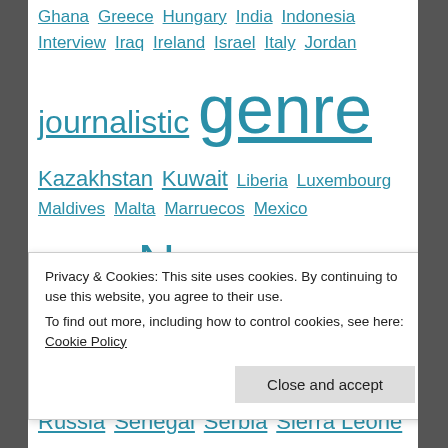Ghana Greece Hungary India Indonesia Interview Iraq Ireland Israel Italy Jordan journalistic genre Kazakhstan Kuwait Liberia Luxembourg Maldives Malta Marruecos Mexico Montenegro News Nicaragua Nigeria Norway Oceania Pakistan Paraguay Peru Philippines Poland Portugal Qatar Reports Rumania Russia Senegal Serbia Sierra Leone Sin categoría Slovakia Spain Sri Lanka Sudan Sweden Taiwan Tanzania Turkey Ukraine United Arab Emirates United
Privacy & Cookies: This site uses cookies. By continuing to use this website, you agree to their use. To find out more, including how to control cookies, see here: Cookie Policy
Close and accept